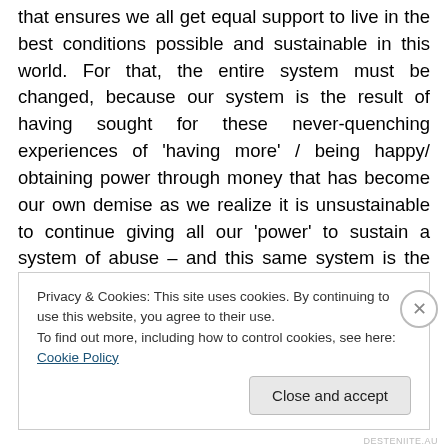that ensures we all get equal support to live in the best conditions possible and sustainable in this world. For that, the entire system must be changed, because our system is the result of having sought for these never-quenching experiences of 'having more' / being happy/ obtaining power through money that has become our own demise as we realize it is unsustainable to continue giving all our 'power' to sustain a system of abuse – and this same system is the one that runs in an exact and equal manner within ourselves as the constant strive for 'feeling good' that we create at a mind level, then seeking to satisfy
Privacy & Cookies: This site uses cookies. By continuing to use this website, you agree to their use.
To find out more, including how to control cookies, see here: Cookie Policy